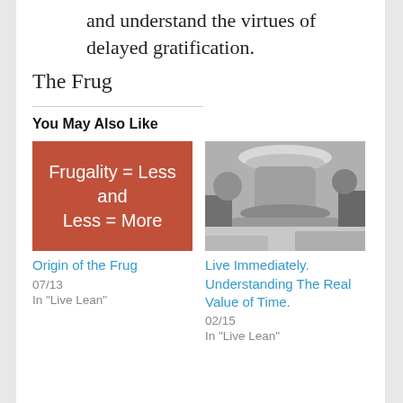and understand the virtues of delayed gratification.
The Frug
You May Also Like
[Figure (illustration): Red/terracotta background tile with white text reading: Frugality = Less and Less = More]
Origin of the Frug
07/13
In "Live Lean"
[Figure (photo): Black and white photograph showing a stone birdbath or garden ornament with trees in the background]
Live Immediately. Understanding The Real Value of Time.
02/15
In "Live Lean"